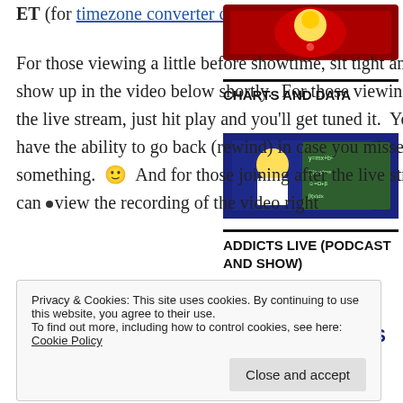ET (for timezone converter check here).
[Figure (illustration): Red book with Simpsons character illustration on the cover]
CHARTS AND DATA
[Figure (illustration): Homer Simpson at a chalkboard with math equations]
ADDICTS LIVE (PODCAST AND SHOW)
[Figure (logo): Addicts Live podcast logo with orange circle microphone icon and text ADDICTS LIVE]
For those viewing a little before showtime, sit tight and it'll show up in the video below shortly. For those viewing during the live stream, just hit play and you'll get tuned it. You also have the ability to go back (rewind) in case you missed something. 🙂 And for those joining after the live stream, you can view the recording of the video right
Privacy & Cookies: This site uses cookies. By continuing to use this website, you agree to their use.
To find out more, including how to control cookies, see here: Cookie Policy
Close and accept